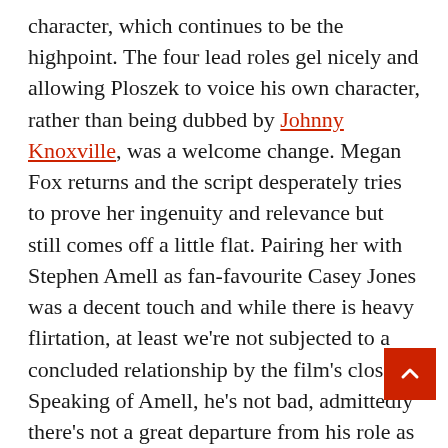character, which continues to be the highpoint. The four lead roles gel nicely and allowing Ploszek to voice his own character, rather than being dubbed by Johnny Knoxville, was a welcome change. Megan Fox returns and the script desperately tries to prove her ingenuity and relevance but still comes off a little flat. Pairing her with Stephen Amell as fan-favourite Casey Jones was a decent touch and while there is heavy flirtation, at least we're not subjected to a concluded relationship by the film's close. Speaking of Amell, he's not bad, admittedly there's not a great departure from his role as Oliver Queen in Arrow (maybe a little less moody) but that's why he was cast, so I can't say I'm that surprised. The new digital characters take the form of Bebop, Rocksteady and Krang, which fans have been crying out for since the first live-action film. Firstly, Krang is such a ridiculous over-the-top character and this rendition, while fucking annoying, is supposed to be fucking annoying